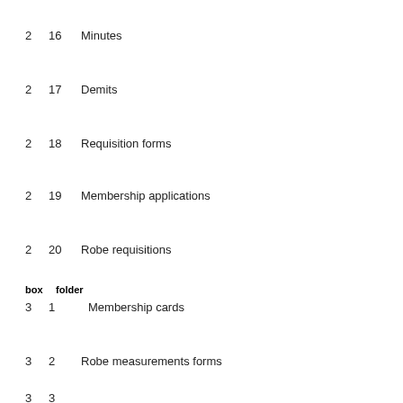2  16  Minutes
2  17  Demits
2  18  Requisition forms
2  19  Membership applications
2  20  Robe requisitions
box   folder
3   1      Membership cards
3  2  Robe measurements forms
3  3  (partially visible)